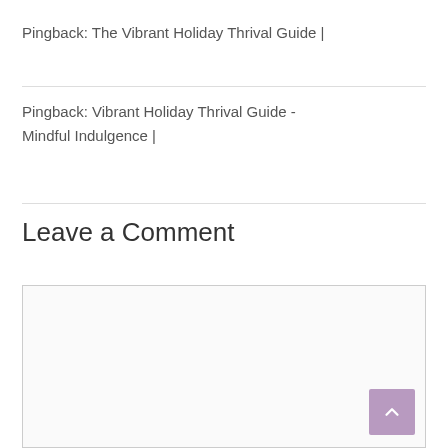Pingback: The Vibrant Holiday Thrival Guide |
Pingback: Vibrant Holiday Thrival Guide - Mindful Indulgence |
Leave a Comment